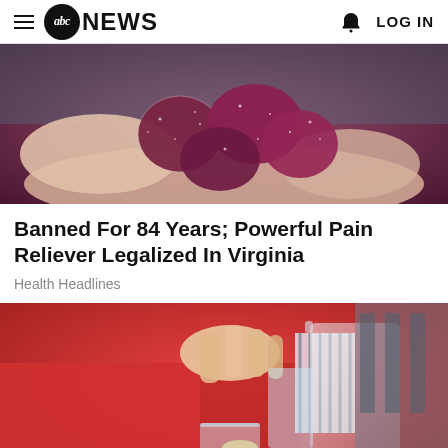abc NEWS  LOG IN
[Figure (photo): Close-up of several dark red/purple sugared gummy candies held in an open palm, with a teal/blue background]
Banned For 84 Years; Powerful Pain Reliever Legalized In Virginia
Health Headlines
[Figure (photo): Person in a red sweater with striped shirt pouring water with lemon from a clear glass pitcher into a glass, outdoor background]